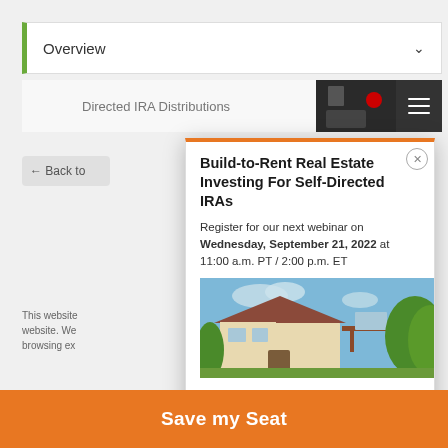Overview
Directed IRA Distributions
Build-to-Rent Real Estate Investing For Self-Directed IRAs
Register for our next webinar on Wednesday, September 21, 2022 at 11:00 a.m. PT / 2:00 p.m. ET
[Figure (photo): Exterior photo of a two-story residential home with beige stucco walls, tile roof, and green trees — build-to-rent real estate]
Save my Seat